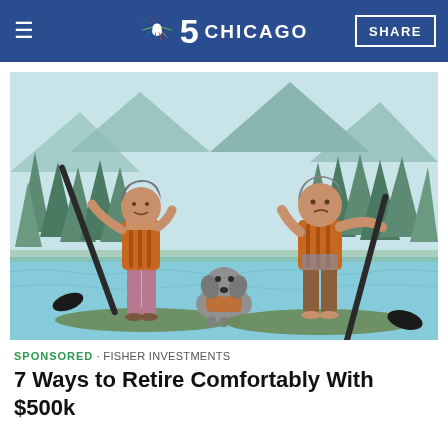NBC 5 CHICAGO | SHARE
[Figure (illustration): Illustration of a man and woman in life vests paddleboarding on a lake with a dog, mountains and pine trees in background]
SPONSORED · FISHER INVESTMENTS
7 Ways to Retire Comfortably With $500k